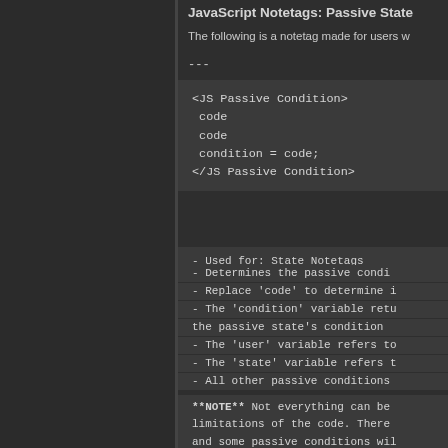JavaScript Notetags: Passive State
The following is a notetag made for users w
---
- Used for: State Notetags
- Determines the passive condi
- Replace 'code' to determine i
- The 'condition' variable retu   the passive state's condition
- The 'user' variable refers to
- The 'state' variable refers t
- All other passive conditions
**NOTE** Not everything can be   limitations of the code. There   and some passive conditions wil   conditional checks will behave